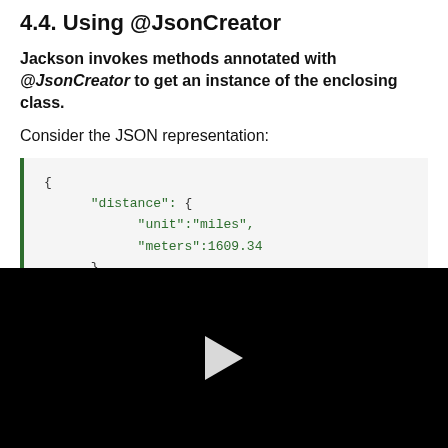4.4. Using @JsonCreator
Jackson invokes methods annotated with @JsonCreator to get an instance of the enclosing class.
Consider the JSON representation:
[Figure (other): Video player with black background and white play button triangle]